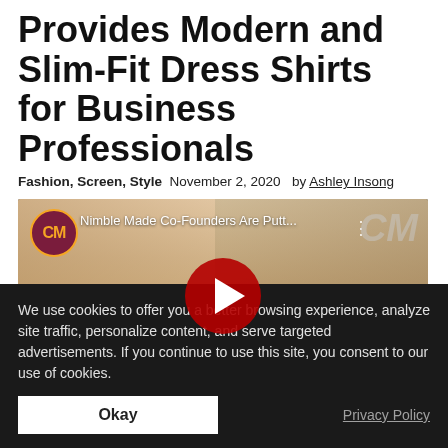Provides Modern and Slim-Fit Dress Shirts for Business Professionals
Fashion, Screen, Style  November 2, 2020  by  Ashley Insong
[Figure (screenshot): YouTube video thumbnail showing two smiling people, with CM logo and play button overlay. Video title: Nimble Made Co-Founders Are Putt...]
We use cookies to offer you a better browsing experience, analyze site traffic, personalize content, and serve targeted advertisements. If you continue to use this site, you consent to our use of cookies.